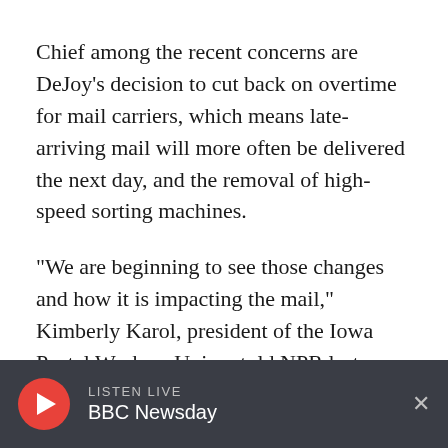Chief among the recent concerns are DeJoy's decision to cut back on overtime for mail carriers, which means late-arriving mail will more often be delivered the next day, and the removal of high-speed sorting machines.
"We are beginning to see those changes and how it is impacting the mail," Kimberly Karol, president of the Iowa Postal Workers Union, told NPR last week. "Mail is beginning to pile up in our offices, and we're seeing equipment being removed."
LISTEN LIVE BBC Newsday